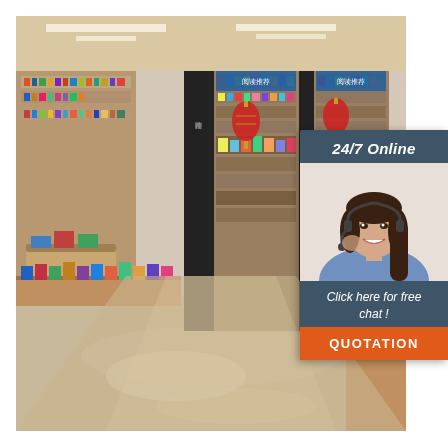[Figure (photo): Interior of a Chinese bookstore with wooden shelves filled with books, red lantern decorations, display tables with books, and modern lighting.]
[Figure (infographic): 24/7 Online customer service chat widget overlay with a smiling female customer service representative wearing a headset, text 'Click here for free chat!', and an orange 'QUOTATION' button.]